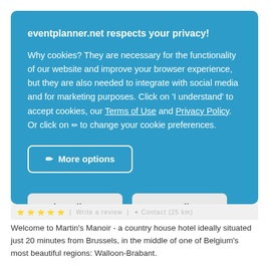eventplanner.net respects your privacy!
Why cookies? They are necessary for the functionality of our website and improve your browser experience, but they are also needed to integrate with social media and for marketing purposes. Click on 'I understand' to accept cookies, our Terms of Use and Privacy Policy. Or click on ✏ to change your cookie preferences.
✏ More options
Reject all    Accept all
Welcome to Martin's Manoir - a country house hotel ideally situated just 20 minutes from Brussels, in the middle of one of Belgium's most beautiful regions: Walloon-Brabant.